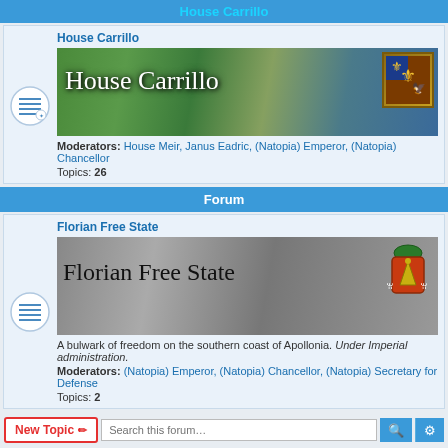House Carrillo
[Figure (screenshot): House Carrillo forum card with banner image showing a French chateau and coat of arms, moderators and topics listed]
Forum
[Figure (screenshot): Florian Free State forum card with banner image showing aerial city view and heraldic crest]
New Topic | Search this forum... | 45 topics • Page 1 of 1
Topics
Dos Gardenias Electoral Commission - Frenzy Election Results Thread